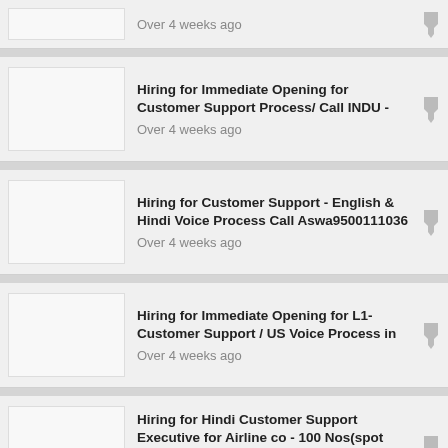Over 4 weeks ago
Hiring for Immediate Opening for Customer Support Process/ Call INDU -
Over 4 weeks ago
Hiring for Customer Support - English & Hindi Voice Process Call Aswa9500111036
Over 4 weeks ago
Hiring for Immediate Opening for L1- Customer Support / US Voice Process in
Over 4 weeks ago
Hiring for Hindi Customer Support Executive for Airline co - 100 Nos(spot Offer)
Over 4 weeks ago
Hiring for Indusind Bank- Customer Support - Chennai - Hindi Language is a must
Over 4 weeks ago
Hiring for Customer Support Voice(inbound) max